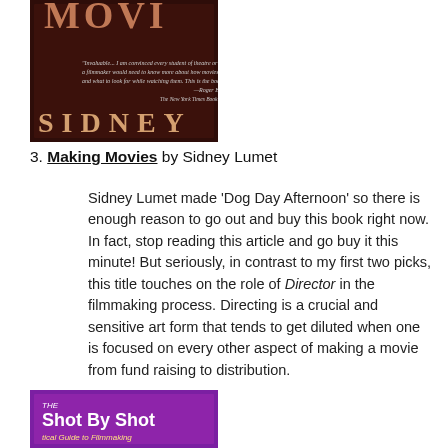[Figure (photo): Book cover of 'Making Movies' by Sidney Lumet — dark reddish-brown cover with large text 'SIDNEY' and partial book title 'MOVI' visible at top, with small quote text in the middle]
3. Making Movies by Sidney Lumet
Sidney Lumet made ‘Dog Day Afternoon’ so there is enough reason to go out and buy this book right now. In fact, stop reading this article and go buy it this minute! But seriously, in contrast to my first two picks, this title touches on the role of Director in the filmmaking process. Directing is a crucial and sensitive art form that tends to get diluted when one is focused on every other aspect of making a movie from fund raising to distribution.
[Figure (photo): Book cover of 'Shot By Shot: A Practical Guide to Filmmaking' — purple/magenta cover with white and yellow text]